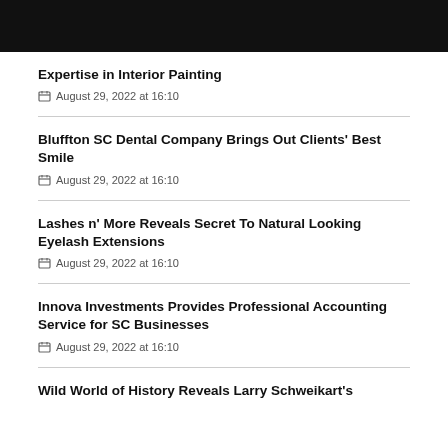Expertise in Interior Painting
August 29, 2022 at 16:10
Bluffton SC Dental Company Brings Out Clients' Best Smile
August 29, 2022 at 16:10
Lashes n' More Reveals Secret To Natural Looking Eyelash Extensions
August 29, 2022 at 16:10
Innova Investments Provides Professional Accounting Service for SC Businesses
August 29, 2022 at 16:10
Wild World of History Reveals Larry Schweikart's